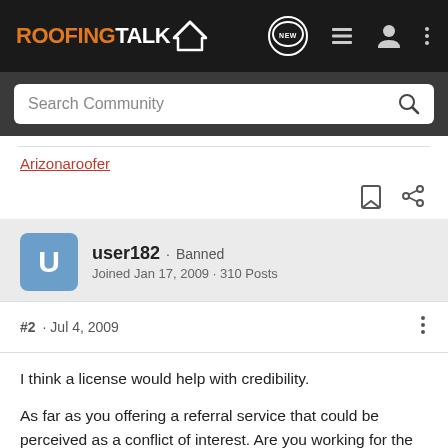ROOFING TALK
Search Community
Arizonaroofer
user182 · Banned
Joined Jan 17, 2009 · 310 Posts
#2 · Jul 4, 2009
I think a license would help with credibility.

As far as you offering a referral service that could be perceived as a conflict of interest. Are you working for the property owner